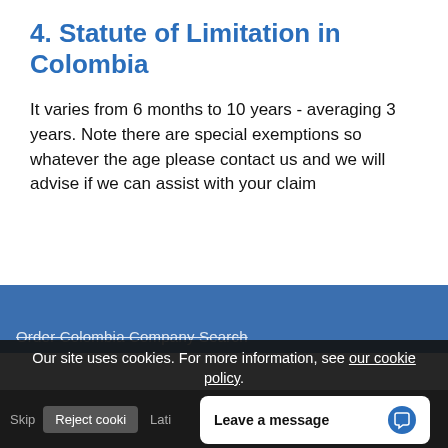4. Statute of Limitation in Colombia
It varies from 6 months to 10 years - averaging 3 years. Note there are special exemptions so whatever the age please contact us and we will advise if we can assist with your claim
Order Colombia Company Search
Our site uses cookies. For more information, see our cookie policy.
Accept cookies and close
Skip
Reject cooki
Lati
Leave a message